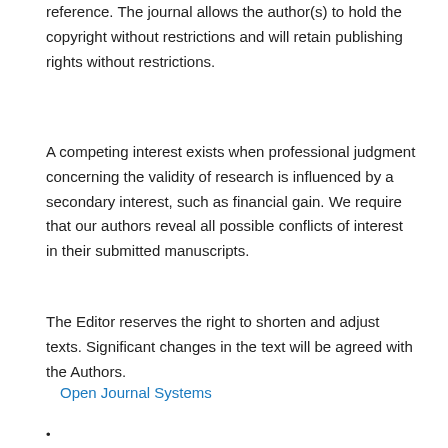reference. The journal allows the author(s) to hold the copyright without restrictions and will retain publishing rights without restrictions.
A competing interest exists when professional judgment concerning the validity of research is influenced by a secondary interest, such as financial gain. We require that our authors reveal all possible conflicts of interest in their submitted manuscripts.
The Editor reserves the right to shorten and adjust texts. Significant changes in the text will be agreed with the Authors.
Open Journal Systems
•